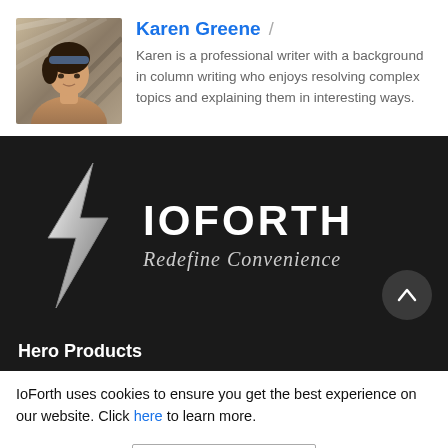[Figure (photo): Author photo of Karen Greene, a woman sitting at a desk]
Karen Greene / Karen is a professional writer with a background in column writing who enjoys resolving complex topics and explaining them in interesting ways.
[Figure (logo): IoForth logo on dark background with lightning bolt icon and tagline 'Redefine Convenience']
Hero Products
IoForth uses cookies to ensure you get the best experience on our website. Click here to learn more.
OK, got it